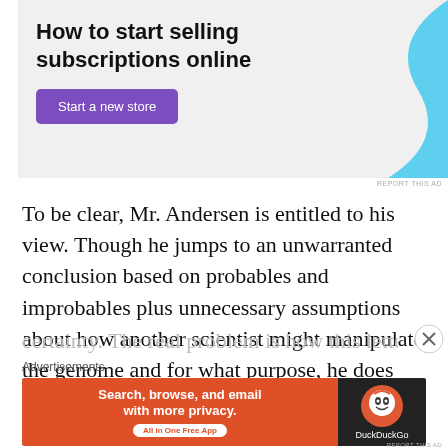[Figure (infographic): Advertisement banner: 'How to start selling subscriptions online' with a purple 'Start a new store' button and a light blue decorative graphic on the right side]
REPORT THIS AD
To be clear, Mr. Andersen is entitled to his view. Though he jumps to an unwarranted conclusion based on probables and improbables plus unnecessary assumptions about how another scientist might manipulate the genome and for what purpose, he does couch the entire letter in the language of “likely” instead of
[partially visible line cut off at bottom]
Advertisements
[Figure (infographic): DuckDuckGo advertisement: orange left panel with 'Search, browse, and email with more privacy. All in One Free App' and dark right panel with DuckDuckGo logo]